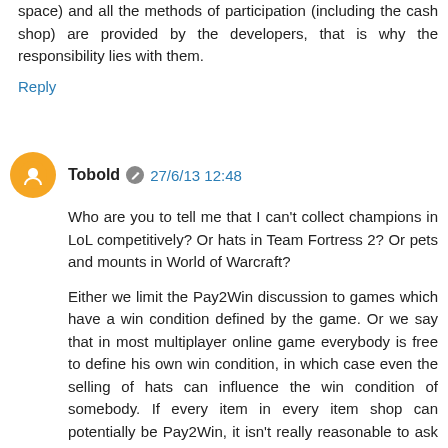space) and all the methods of participation (including the cash shop) are provided by the developers, that is why the responsibility lies with them.
Reply
Tobold 27/6/13 12:48
Who are you to tell me that I can't collect champions in LoL competitively? Or hats in Team Fortress 2? Or pets and mounts in World of Warcraft?
Either we limit the Pay2Win discussion to games which have a win condition defined by the game. Or we say that in most multiplayer online game everybody is free to define his own win condition, in which case even the selling of hats can influence the win condition of somebody. If every item in every item shop can potentially be Pay2Win, it isn't really reasonable to ask game companies to stop selling Pay2Win items.
Players: "Stop selling Pay2Win items!"